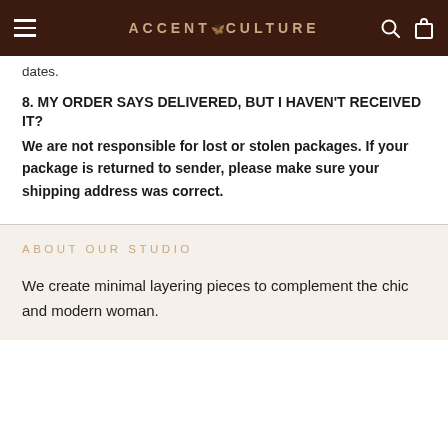ACCENT CULTURE
dates.
8. MY ORDER SAYS DELIVERED, BUT I HAVEN'T RECEIVED IT?
We are not responsible for lost or stolen packages. If your package is returned to sender, please make sure your shipping address was correct.
ABOUT OUR STUDIO
We create minimal layering pieces to complement the chic and modern woman.